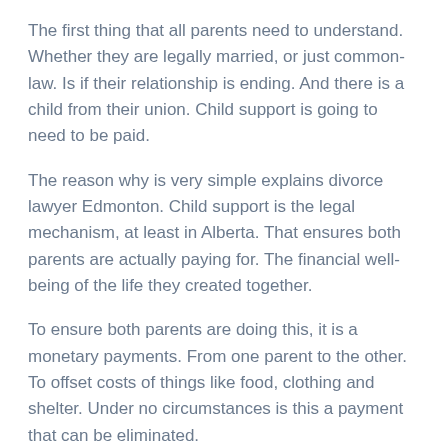The first thing that all parents need to understand. Whether they are legally married, or just common-law. Is if their relationship is ending. And there is a child from their union. Child support is going to need to be paid.
The reason why is very simple explains divorce lawyer Edmonton. Child support is the legal mechanism, at least in Alberta. That ensures both parents are actually paying for. The financial well-being of the life they created together.
To ensure both parents are doing this, it is a monetary payments. From one parent to the other. To offset costs of things like food, clothing and shelter. Under no circumstances is this a payment that can be eliminated.